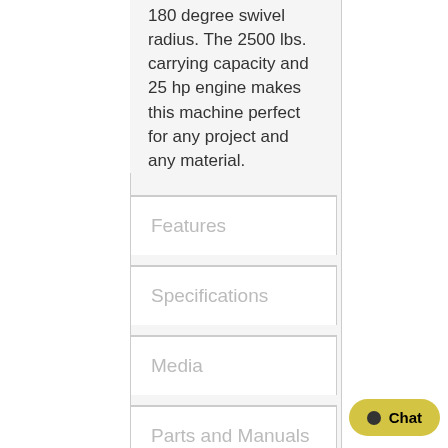180 degree swivel radius. The 2500 lbs. carrying capacity and 25 hp engine makes this machine perfect for any project and any material.
Features
Specifications
Media
Parts and Manuals